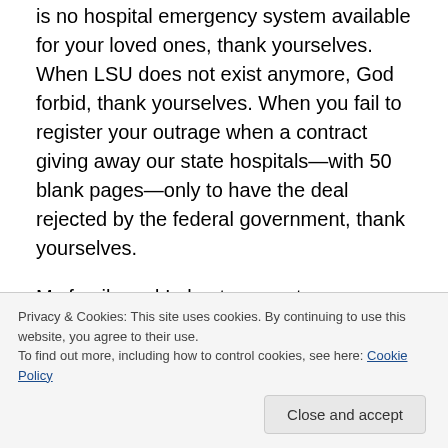is no hospital emergency system available for your loved ones, thank yourselves. When LSU does not exist anymore, God forbid, thank yourselves. When you fail to register your outrage when a contract giving away our state hospitals—with 50 blank pages—only to have the deal rejected by the federal government, thank yourselves.
My family and I plan to move to a more progressive state—to a state where citizens actually live in the current year/century and do not want to take us back to 1915, a state where people want to move forward in a way that
Privacy & Cookies: This site uses cookies. By continuing to use this website, you agree to their use.
To find out more, including how to control cookies, see here: Cookie Policy